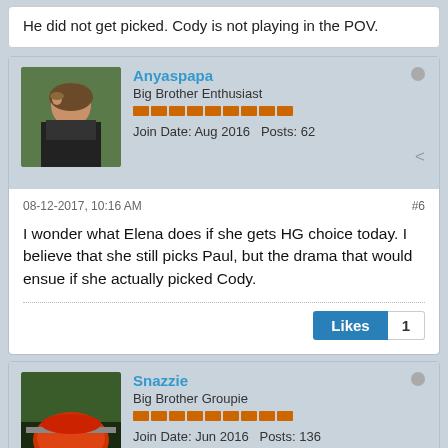He did not get picked. Cody is not playing in the POV.
Anyaspapa
Big Brother Enthusiast
Join Date: Aug 2016  Posts: 62
08-12-2017, 10:16 AM
#6
I wonder what Elena does if she gets HG choice today. I believe that she still picks Paul, but the drama that would ensue if she actually picked Cody.
Snazzie
Big Brother Groupie
Join Date: Jun 2016  Posts: 136